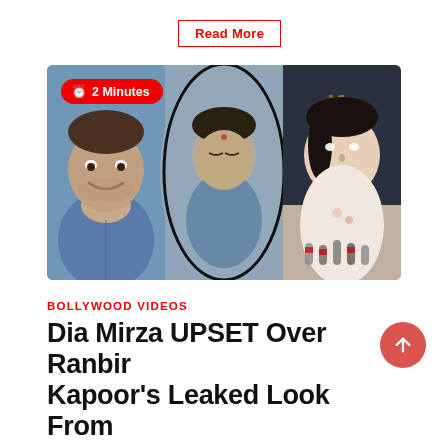Read More
[Figure (photo): Composite image of three Bollywood celebrities with a '2 Minutes' badge overlay — left panel shows a smiling older man in blue shirt, center oval shows a man with head bowed, right panel shows a woman at a press event with microphones]
BOLLYWOOD  VIDEOS
Dia Mirza UPSET Over Ranbir Kapoor's Leaked Look From